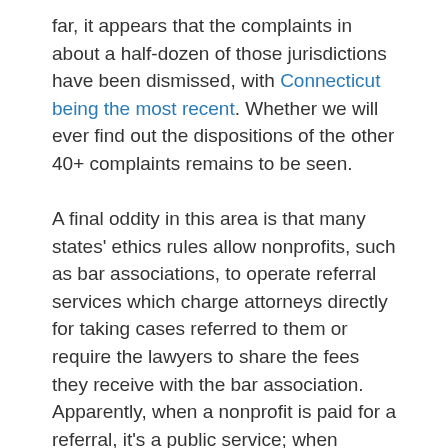far, it appears that the complaints in about a half-dozen of those jurisdictions have been dismissed, with Connecticut being the most recent. Whether we will ever find out the dispositions of the other 40+ complaints remains to be seen.
A final oddity in this area is that many states' ethics rules allow nonprofits, such as bar associations, to operate referral services which charge attorneys directly for taking cases referred to them or require the lawyers to share the fees they receive with the bar association. Apparently, when a nonprofit is paid for a referral, it's a public service; when anyone else receives a payment, it's a pox upon the public interest.